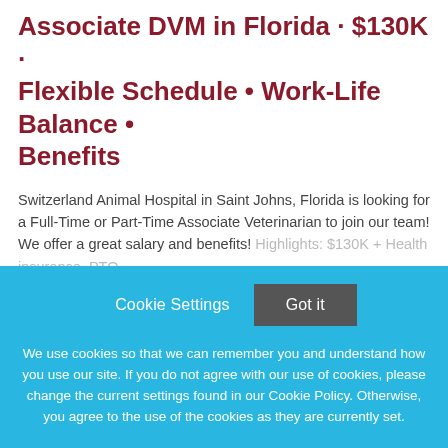Associate DVM in Florida · $130K · Flexible Schedule • Work-Life Balance • Benefits
Switzerland Animal Hospital in Saint Johns, Florida is looking for a Full-Time or Part-Time Associate Veterinarian to join our team! We offer a great salary and benefits! Highlights: $130K + Health insurance, PTO,
This job listing is no longer active.
Cookie Settings
Got it
We use cookies so that we can remember you and understand how you use our site. If you do not agree with our use of cookies, please change the current settings found in our Cookie Policy. Otherwise, you agree to the use of the cookies as they are currently set.